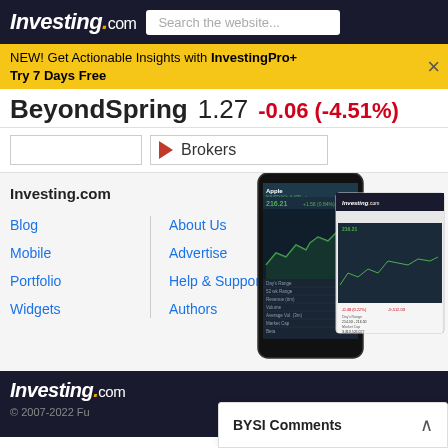Investing.com | Search the website...
NEW! Get Actionable Insights with InvestingPro+ Try 7 Days Free
BeyondSpring  1.27  -0.06 (-4.51%)
Brokers
[Figure (screenshot): Investing.com app screenshot showing Apple stock chart on mobile and desktop]
Investing.com
Blog
Mobile
Portfolio
Widgets
About Us
Advertise
Help & Support
Authors
Investing.com
© 2007-2022 Fu
BYSI Comments